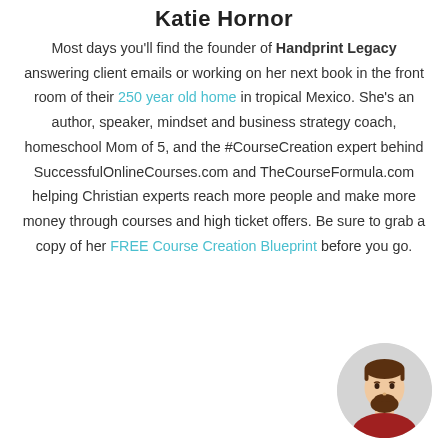Katie Hornor
Most days you'll find the founder of Handprint Legacy answering client emails or working on her next book in the front room of their 250 year old home in tropical Mexico. She's an author, speaker, mindset and business strategy coach, homeschool Mom of 5, and the #CourseCreation expert behind SuccessfulOnlineCourses.com and TheCourseFormula.com helping Christian experts reach more people and make more money through courses and high ticket offers. Be sure to grab a copy of her FREE Course Creation Blueprint before you go.
[Figure (illustration): Cartoon avatar of a bearded man with brown hair wearing a red shirt, shown in a circular grey frame in the bottom-right corner.]